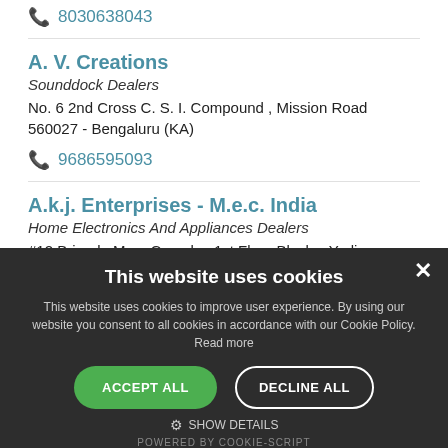8030638043
A. V. Creations
Sounddock Dealers
No. 6 2nd Cross C. S. I. Compound , Mission Road 560027 - Bengaluru (KA)
9686595093
A.k.j. Enterprises - M.e.c. India
Home Electronics And Appliances Dealers
#12 Brigade M.m. Complex 1st Floor Block c Yediyur , Banashankari 560050 - Bengaluru (KA)
This website uses cookies
This website uses cookies to improve user experience. By using our website you consent to all cookies in accordance with our Cookie Policy. Read more
ACCEPT ALL  DECLINE ALL
SHOW DETAILS
POWERED BY COOKIE-SCRIPT